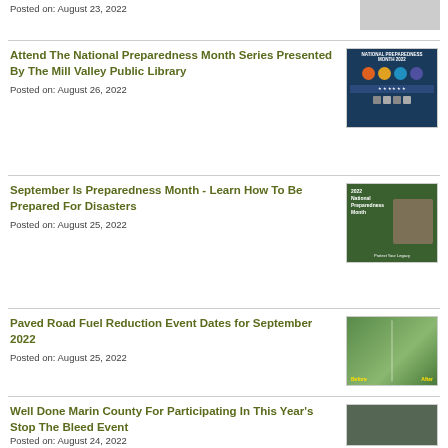Posted on: August 23, 2022
Attend The National Preparedness Month Series Presented By The Mill Valley Public Library
Posted on: August 26, 2022
September Is Preparedness Month - Learn How To Be Prepared For Disasters
Posted on: August 25, 2022
Paved Road Fuel Reduction Event Dates for September 2022
Posted on: August 25, 2022
Well Done Marin County For Participating In This Year's Stop The Bleed Event
Posted on: August 24, 2022